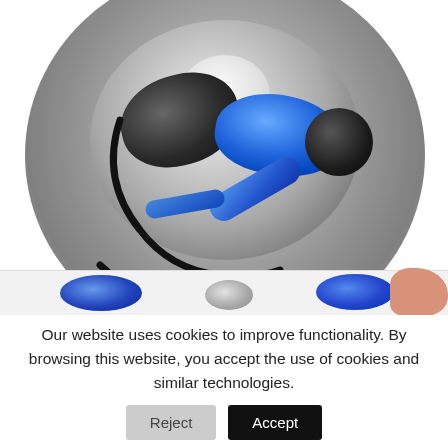[Figure (photo): Top-down view of blue and black in-ear earphones/earbuds with cable coiled inside a gray round container or bowl. Below the main image is a thumbnail strip showing multiple small product photos including the earbuds and a hand holding them.]
Our website uses cookies to improve functionality. By browsing this website, you accept the use of cookies and similar technologies.